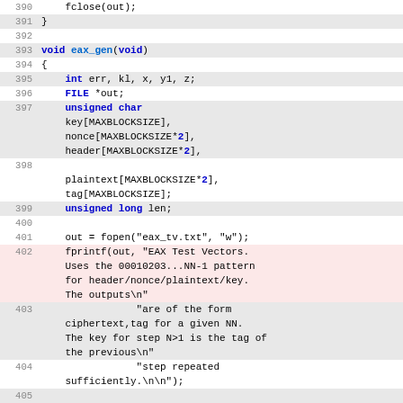Source code listing lines 390-406 of a C file implementing eax_gen function
[Figure (screenshot): C source code with syntax highlighting showing lines 390-406, including function eax_gen(void) with variable declarations, file operations, fprintf calls, and a for loop]